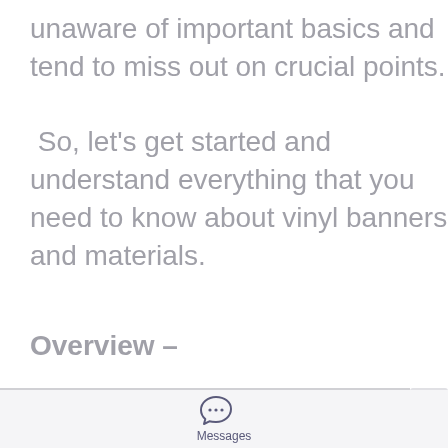unaware of important basics and tend to miss out on crucial points.

 So, let's get started and understand everything that you need to know about vinyl banners and materials.
Overview –
[Figure (illustration): Messages app icon: a speech bubble with three dots inside, with the label 'Messages' below it.]